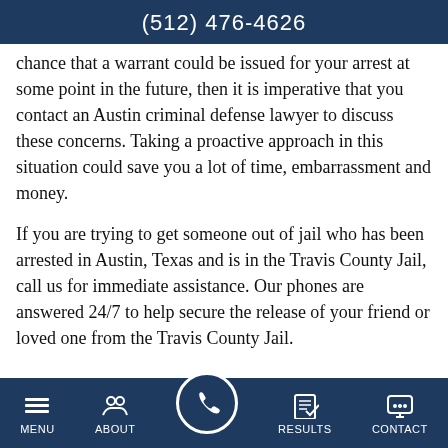(512) 476-4626
chance that a warrant could be issued for your arrest at some point in the future, then it is imperative that you contact an Austin criminal defense lawyer to discuss these concerns. Taking a proactive approach in this situation could save you a lot of time, embarrassment and money.
If you are trying to get someone out of jail who has been arrested in Austin, Texas and is in the Travis County Jail, call us for immediate assistance. Our phones are answered 24/7 to help secure the release of your friend or loved one from the Travis County Jail. To contact us directly, please also visit
MENU  ABOUT  RESULTS  CONTACT